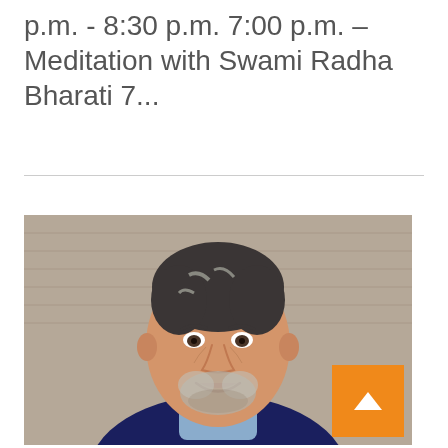p.m. - 8:30 p.m. 7:00 p.m. – Meditation with Swami Radha Bharati 7...
[Figure (photo): Portrait photo of a middle-aged man with gray-streaked dark hair, short beard, smiling, wearing a dark navy sweater over a light blue collared shirt, photographed against a gray/taupe wooden siding background.]